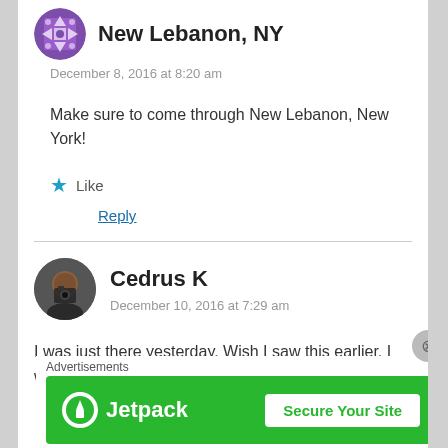[Figure (illustration): Purple geometric patterned circular avatar for New Lebanon, NY commenter]
New Lebanon, NY
December 8, 2016 at 8:20 am
Make sure to come through New Lebanon, New York!
★ Like
Reply
[Figure (photo): Round photo avatar of Cedrus K, person holding a camera]
Cedrus K
December 10, 2016 at 7:29 am
I was just there yesterday. Wish I saw this earlier. I was given a tour of the Shaker
Advertisements
[Figure (illustration): Jetpack advertisement banner with green background showing Jetpack logo and Secure Your Site button]